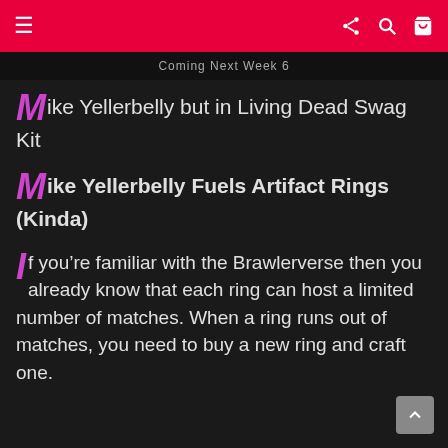Coming Next Week 6
Mike Yellerbelly but in Living Dead Swag Kit
Mike Yellerbelly Fuels Artifact Rings (Kinda)
If you’re familiar with the Brawlerverse then you already know that each ring can host a limited number of matches. When a ring runs out of matches, you need to buy a new ring and craft one.